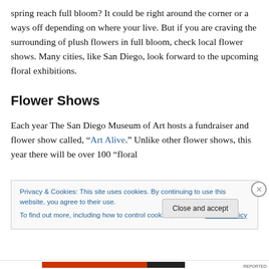spring reach full bloom? It could be right around the corner or a ways off depending on where your live. But if you are craving the surrounding of plush flowers in full bloom, check local flower shows. Many cities, like San Diego, look forward to the upcoming floral exhibitions.
Flower Shows
Each year The San Diego Museum of Art hosts a fundraiser and flower show called, “Art Alive.” Unlike other flower shows, this year there will be over 100 “floral
Privacy & Cookies: This site uses cookies. By continuing to use this website, you agree to their use.
To find out more, including how to control cookies, see here: Cookie Policy
Close and accept